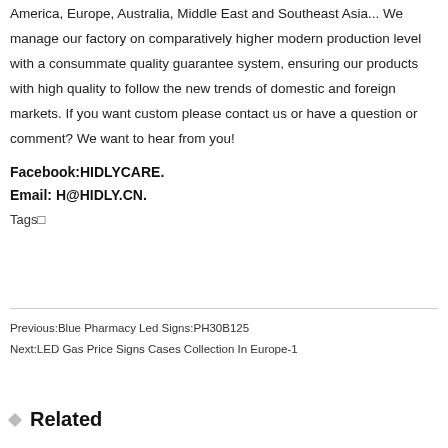America, Europe, Australia, Middle East and Southeast Asia... We manage our factory on comparatively higher modern production level with a consummate quality guarantee system, ensuring our products with high quality to follow the new trends of domestic and foreign markets. If you want custom please contact us or have a question or comment? We want to hear from you!
Facebook:HIDLYCARE.
Email: H@HIDLY.CN.
Tags□
Previous:Blue Pharmacy Led Signs:PH30B125
Next:LED Gas Price Signs Cases Collection In Europe-1
Related